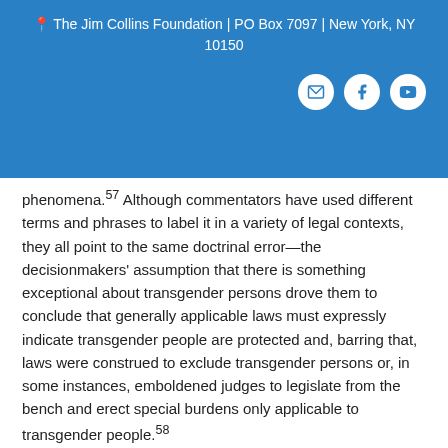The Jim Collins Foundation | PO Box 7097 | New York, NY 10150
phenomena. Although commentators have used different terms and phrases to label it in a variety of legal contexts, they all point to the same doctrinal error—the decisionmakers' assumption that there is something exceptional about transgender persons drove them to conclude that generally applicable laws must expressly indicate transgender people are protected and, barring that, laws were construed to exclude transgender persons or, in some instances, emboldened judges to legislate from the bench and erect special burdens only applicable to transgender people.58
B. Historically, some courts erroneously deemed transgender people categorically unprotected by sex